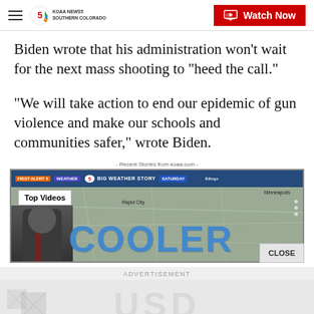KOAA NEWS5 SOUTHERN COLORADO | Watch Now
Biden wrote that his administration won’t wait for the next mass shooting to “heed the call.”
“We will take action to end our epidemic of gun violence and make our schools and communities safer,” wrote Biden.
Recent Stories from koaa.com
[Figure (screenshot): Video thumbnail showing a weather broadcast with 'BIG WEATHER STORY SATURDAY' banner, map background showing Minneapolis, Rapid City, Salt Lake, Omaha, and large blue 'COOLER' text overlay. Newscaster visible at bottom left. 'Top Videos' label overlay. Close button at bottom right.]
ADVERTISEMENT